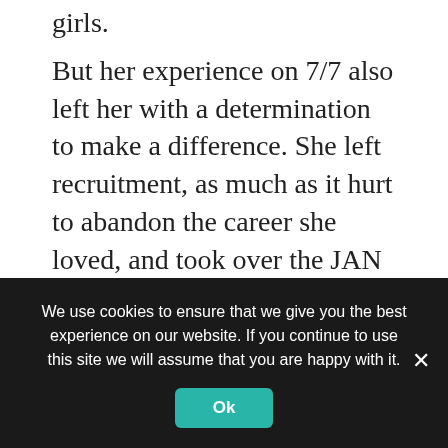girls.
But her experience on 7/7 also left her with a determination to make a difference. She left recruitment, as much as it hurt to abandon the career she loved, and took over the JAN Trust, a charity for black, Asian and minority ethnic women and mothers. It provides support, advice and counselling in Haringey, north London, and Mughal turned it into a dynamic NGO. At the trust, she spearheaded campaigns to prevent radicalisation in the UK and beyond, and raised community awareness of extremism – first Islamist and then
We use cookies to ensure that we give you the best experience on our website. If you continue to use this site we will assume that you are happy with it.